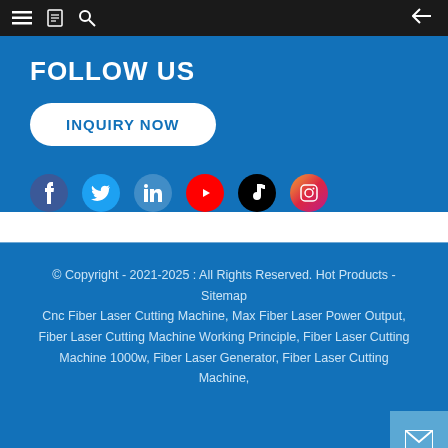Navigation bar with menu, book, search icons and back arrow
FOLLOW US
INQUIRY NOW
[Figure (infographic): Social media icons: Facebook, Twitter, LinkedIn, YouTube, TikTok, Instagram]
© Copyright - 2021-2025 : All Rights Reserved. Hot Products - Sitemap Cnc Fiber Laser Cutting Machine, Max Fiber Laser Power Output, Fiber Laser Cutting Machine Working Principle, Fiber Laser Cutting Machine 1000w, Fiber Laser Generator, Fiber Laser Cutting Machine,